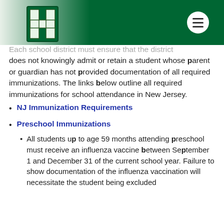[Figure (logo): Green letter H school logo on gradient green header bar with white menu hamburger button]
Each school district must ensure that the district does not knowingly admit or retain a student whose parent or guardian has not provided documentation of all required immunizations. The links below outline all required immunizations for school attendance in New Jersey.
NJ Immunization Requirements
Preschool Immunizations
All students up to age 59 months attending preschool must receive an influenza vaccine between September 1 and December 31 of the current school year. Failure to show documentation of the influenza vaccination will necessitate the student being excluded